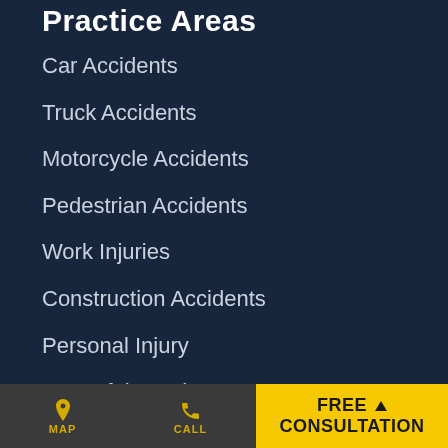Practice Areas
Car Accidents
Truck Accidents
Motorcycle Accidents
Pedestrian Accidents
Work Injuries
Construction Accidents
Personal Injury
Wrongful Death
MAP | CALL | FREE CONSULTATION